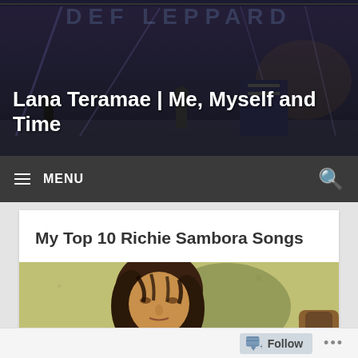Lana Teramae | Me, Myself and Time
My Top 10 Richie Sambora Songs
[Figure (photo): Photo of Richie Sambora with long curly dark hair against a textured wall background]
Follow